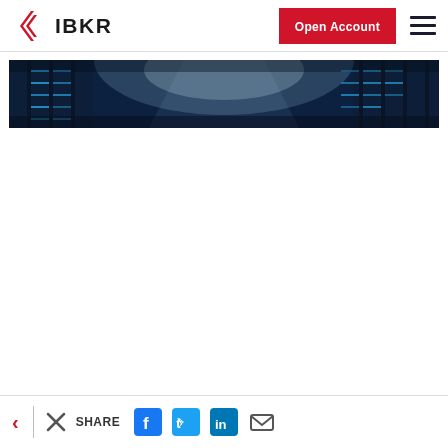IBKR — Open Account
[Figure (photo): Wide banner photo of a data center server room with blue lighting and rows of server racks]
[Figure (other): Social share bar with back arrow, X close icon, SHARE label, Facebook, Twitter, LinkedIn, and email icons]